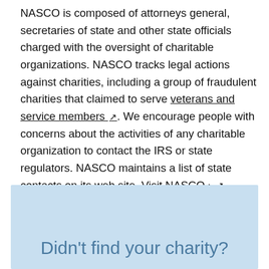NASCO is composed of attorneys general, secretaries of state and other state officials charged with the oversight of charitable organizations. NASCO tracks legal actions against charities, including a group of fraudulent charities that claimed to serve veterans and service members [external link]. We encourage people with concerns about the activities of any charitable organization to contact the IRS or state regulators. NASCO maintains a list of state contacts on its web site. Visit NASCO › [external link]
Didn't find your charity?